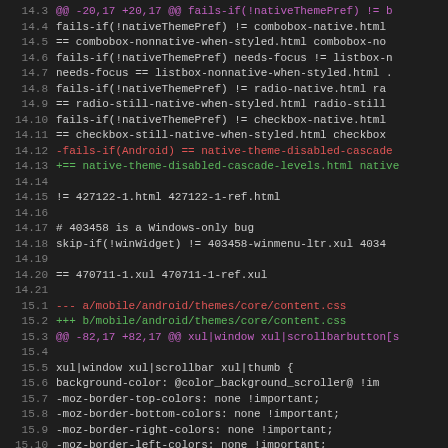[Figure (screenshot): Code diff view showing source code changes in a monospaced font on dark background, with line numbers on the left and colored diff markers (red for removed lines, green for added lines, magenta for diff headers). Lines 14.3 through 15.13 are shown.]